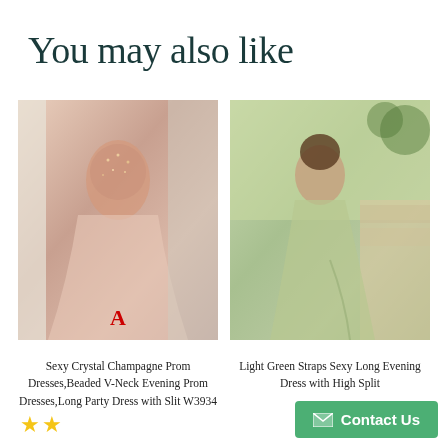You may also like
[Figure (photo): Woman wearing a sexy crystal champagne prom dress with beaded V-neck and high slit, labeled 'A' in red]
Sexy Crystal Champagne Prom Dresses,Beaded V-Neck Evening Prom Dresses,Long Party Dress with Slit W3934
[Figure (photo): Woman wearing a light green straps sexy long evening dress with high split, outdoors]
Light Green Straps Sexy Long Evening Dress with High Split
Contact Us